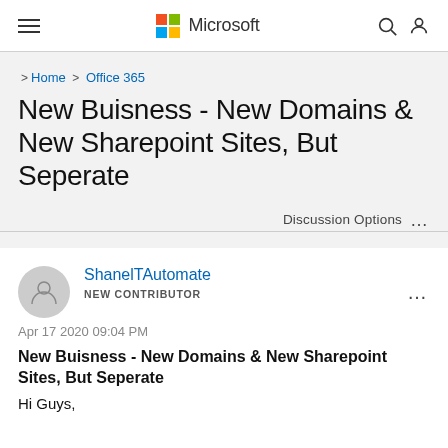Microsoft
> Home > Office 365
New Buisness - New Domains & New Sharepoint Sites, But Seperate
Discussion Options ...
ShanelTAutomate
NEW CONTRIBUTOR
Apr 17 2020 09:04 PM
New Buisness - New Domains & New Sharepoint Sites, But Seperate
Hi Guys,